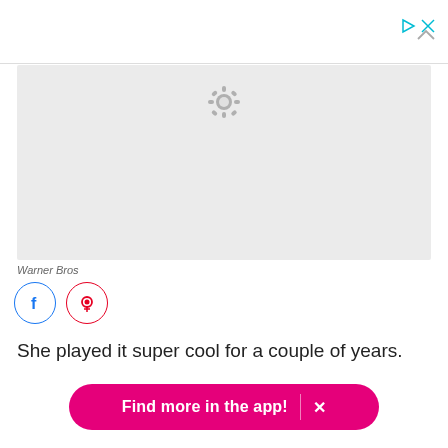▷ ×
[Figure (illustration): Gray placeholder image box with a gear/settings icon visible at the top center]
Warner Bros
[Figure (illustration): Facebook and Pinterest social sharing icon buttons (circle outlines)]
She played it super cool for a couple of years.
Find more in the app! ×